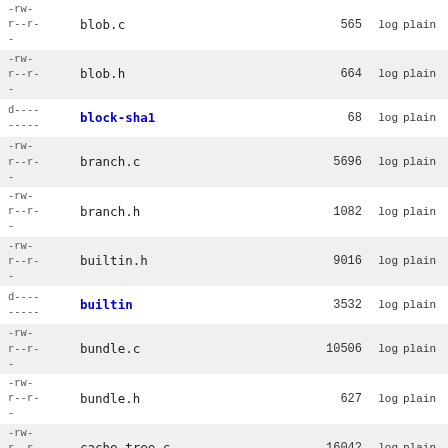| permissions | name | size | log | plain |
| --- | --- | --- | --- | --- |
| -rw-
r--r-
- | blob.c | 565 | log | plain |
| -rw-
r--r-
- | blob.h | 664 | log | plain |
| d----
----- | block-sha1 | 68 | log | plain |
| -rw-
r--r-
- | branch.c | 5696 | log | plain |
| -rw-
r--r-
- | branch.h | 1082 | log | plain |
| -rw-
r--r-
- | builtin.h | 9016 | log | plain |
| d----
----- | builtin | 3532 | log | plain |
| -rw-
r--r-
- | bundle.c | 10506 | log | plain |
| -rw-
r--r-
- | bundle.h | 627 | log | plain |
| -rw-
r--r-
- | cache-tree.c | 16042 | log | plain |